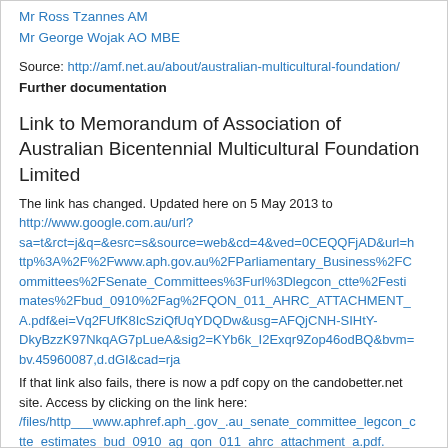Mr Ross Tzannes AM
Mr George Wojak AO MBE
Source: http://amf.net.au/about/australian-multicultural-foundation/
Further documentation
Link to Memorandum of Association of Australian Bicentennial Multicultural Foundation Limited
The link has changed. Updated here on 5 May 2013 to http://www.google.com.au/url?sa=t&rct=j&q=&esrc=s&source=web&cd=4&ved=0CEQQFjAD&url=http%3A%2F%2Fwww.aph.gov.au%2FParliamentary_Business%2FCommittees%2FSenate_Committees%3Furl%3Dlegcon_ctte%2Festimates%2Fbud_0910%2Fag%2FQON_011_AHRC_ATTACHMENT_A.pdf&ei=Vq2FUfK8IcSziQfUqYDQDw&usg=AFQjCNH-SIHtY-DkyBzzK97NkqAG7pLueA&sig2=KYb6k_I2Exqr9Zop46odBQ&bvm=bv.45960087,d.dGI&cad=rja
If that link also fails, there is now a pdf copy on the candobetter.net site. Access by clicking on the link here: /files/http___www.aphref.aph_.gov_.au_senate_committee_legcon_ctte_estimates_bud_0910_ag_qon_011_ahrc_attachment_a.pdf.
[For documentation on the foundation historically, and in this article...